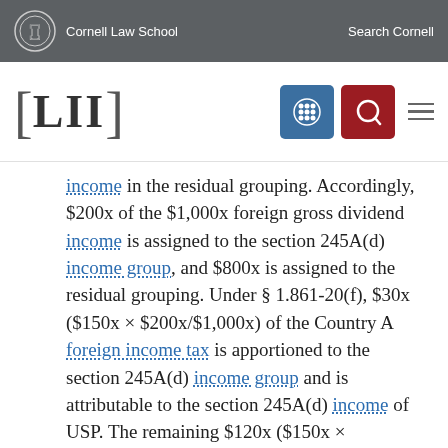Cornell Law School  Search Cornell
[Figure (logo): Cornell Law School and LII (Legal Information Institute) navigation header with search and menu icons]
income in the residual grouping. Accordingly, $200x of the $1,000x foreign gross dividend income is assigned to the section 245A(d) income group, and $800x is assigned to the residual grouping. Under § 1.861-20(f), $30x ($150x × $200x/$1,000x) of the Country A foreign income tax is apportioned to the section 245A(d) income group and is attributable to the section 245A(d) income of USP. The remaining $120x ($150x × $800x/$1,000x) of the tax is apportioned to the residual grouping.